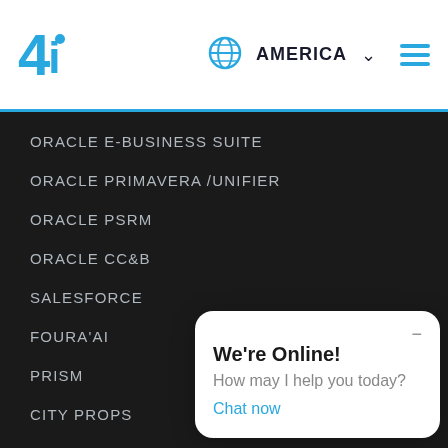[Figure (logo): 4i logo in blue with dot above the i]
AMERICA
ORACLE E-BUSINESS SUITE
ORACLE PRIMAVERA /UNIFIER
ORACLE PSRM
ORACLE CC&B
SALESFORCE
FOURA'AI
PRISM
CITY PROPS
SUBCON
SERVICES
CONSULTING & IMPLEM
INNOVATION
CLOUD MIGRATION
UPGRADES
We're Online! How may I help you today? Chat now